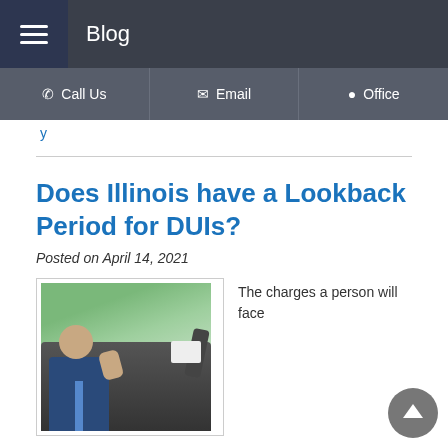Blog
Call Us | Email | Office
y
Does Illinois have a Lookback Period for DUIs?
Posted on April 14, 2021
[Figure (photo): A person sitting in a car being handed a document through the window by someone outside, with green trees visible in the background.]
The charges a person will face